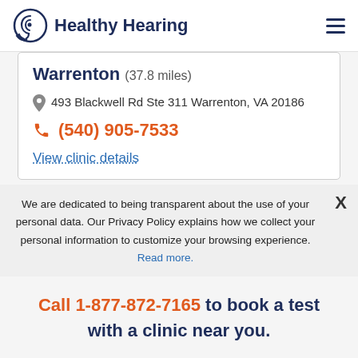Healthy Hearing
Warrenton (37.8 miles)
493 Blackwell Rd Ste 311 Warrenton, VA 20186
(540) 905-7533
View clinic details
We are dedicated to being transparent about the use of your personal data. Our Privacy Policy explains how we collect your personal information to customize your browsing experience. Read more.
Call 1-877-872-7165 to book a test with a clinic near you.